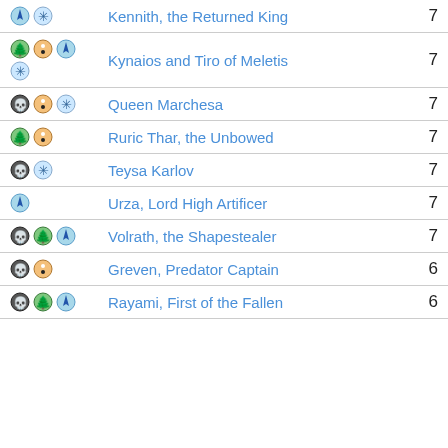| Icons | Name | Count |
| --- | --- | --- |
| [water][snow] | Kennith, the Returned King | 7 |
| [tree][yin][water][snow] | Kynaios and Tiro of Meletis | 7 |
| [skull][yin][snow] | Queen Marchesa | 7 |
| [tree][yin] | Ruric Thar, the Unbowed | 7 |
| [skull][snow] | Teysa Karlov | 7 |
| [water] | Urza, Lord High Artificer | 7 |
| [skull][tree][water] | Volrath, the Shapestealer | 7 |
| [skull][yin] | Greven, Predator Captain | 6 |
| [skull][tree][water] | Rayami, First of the Fallen | 6 |